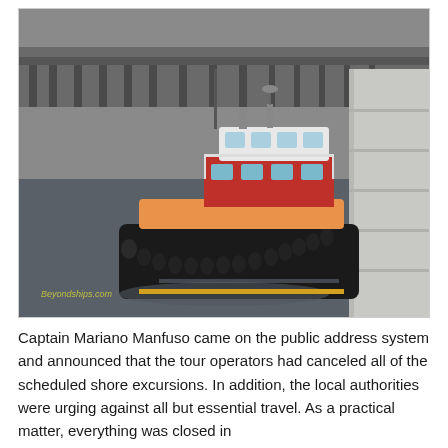[Figure (photo): A tugboat with orange and red hull alongside a large ship at a port. The tugboat is seen in grey water with a pier/dock structure visible in the background. A watermark reading 'Beyondships.com' appears in the bottom-left of the photo.]
Captain Mariano Manfuso came on the public address system and announced that the tour operators had canceled all of the scheduled shore excursions. In addition, the local authorities were urging against all but essential travel. As a practical matter, everything was closed in